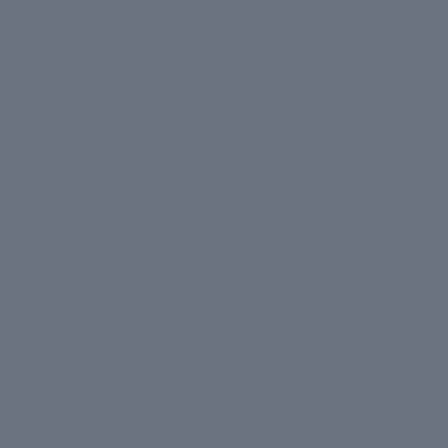[Figure (photo): A group of painted Blood Bowl miniatures on green bases arranged in a row on a black gridded cutting mat. The figures are wearing orange uniforms. In the center is an unpainted white ghost-like miniature. A power adapter and cable are visible in the background against a cream wall.]
Necromantic horror blood bowl team
Haven't painted much in a while, but I finally got around to painting my necromantic horror blood bowl team.